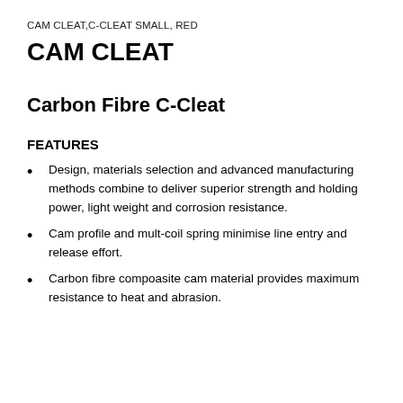CAM CLEAT,C-CLEAT SMALL, RED
CAM CLEAT
Carbon Fibre C-Cleat
FEATURES
Design, materials selection and advanced manufacturing methods combine to deliver superior strength and holding power, light weight and corrosion resistance.
Cam profile and mult-coil spring minimise line entry and release effort.
Carbon fibre compoasite cam material provides maximum resistance to heat and abrasion.